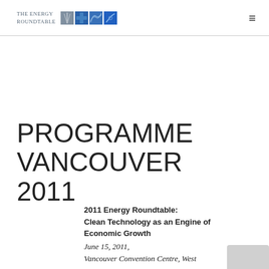The Energy Roundtable
PROGRAMME VANCOUVER 2011
2011 Energy Roundtable: Clean Technology as an Engine of Economic Growth
June 15, 2011,
Vancouver Convention Centre, West